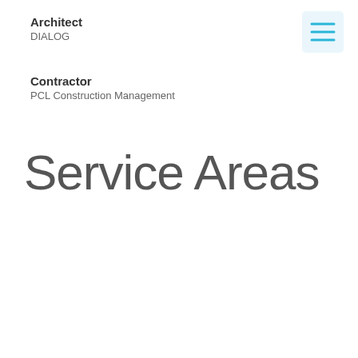Architect
DIALOG
Contractor
PCL Construction Management
[Figure (infographic): Hamburger menu icon with three horizontal cyan/blue lines on a light blue background]
Service Areas